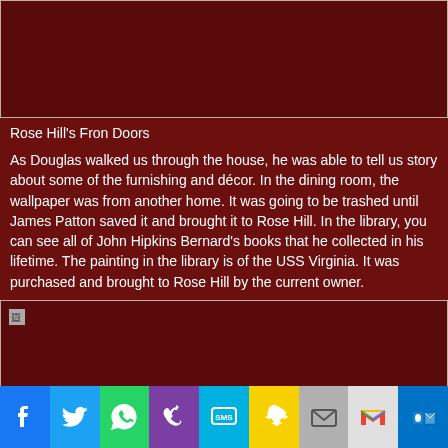[Figure (photo): Top image area showing Rose Hill's front doors (image broken/not loaded), dark background.]
Rose Hill's Fron Doors
As Douglas walked us through the house, he was able to tell us story about some of the furnishing and décor. In the dining room, the wallpaper was from another home. It was going to be trashed until James Patton saved it and brought it to Rose Hill. In the library, you can see all of John Hipkins Bernard's books that he collected in his lifetime. The painting in the library is of the USS Virginia. It was purchased and brought to Rose Hill by the current owner.
[Figure (photo): Second photo area, appears to be an interior or exterior view of Rose Hill, image broken/loading indicator visible.]
[Figure (other): Social media sharing bar with icons: Facebook, Twitter, WhatsApp, Phone, SMS, Snapchat, Email, Gmail, Outlook.]